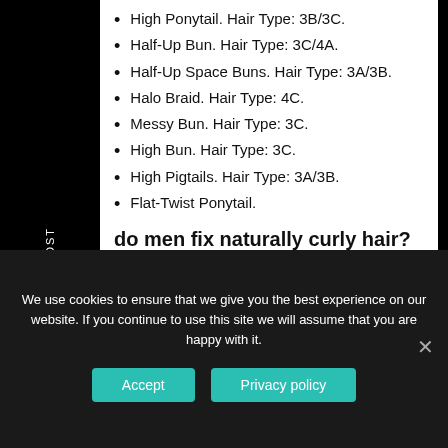High Ponytail. Hair Type: 3B/3C.
Half-Up Bun. Hair Type: 3C/4A.
Half-Up Space Buns. Hair Type: 3A/3B.
Halo Braid. Hair Type: 4C.
Messy Bun. Hair Type: 3C.
High Bun. Hair Type: 3C.
High Pigtails. Hair Type: 3A/3B.
Flat-Twist Ponytail.
do men fix naturally curly hair?
We use cookies to ensure that we give you the best experience on our website. If you continue to use this site we will assume that you are happy with it.